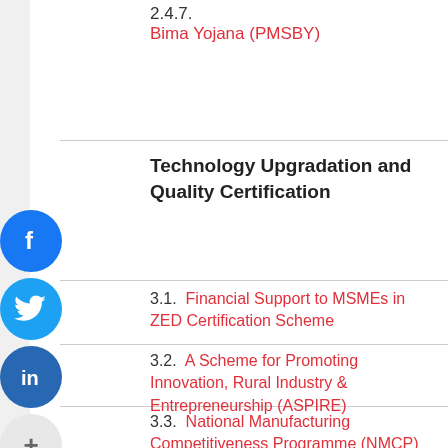2.4.7. Bima Yojana (PMSBY)
Technology Upgradation and Quality Certification
3.1. Financial Support to MSMEs in ZED Certification Scheme
3.2. A Scheme for Promoting Innovation, Rural Industry & Entrepreneurship (ASPIRE)
3.3. National Manufacturing Competitiveness Programme (NMCP)